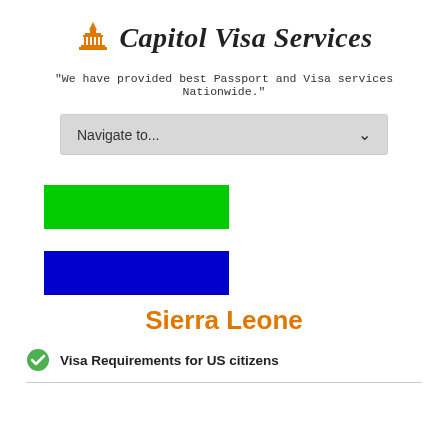Capitol Visa Services
"We have provided best Passport and Visa services Nationwide."
Navigate to...
[Figure (illustration): Sierra Leone flag with green, white, and blue horizontal stripes]
Sierra Leone
Visa Requirements for US citizens